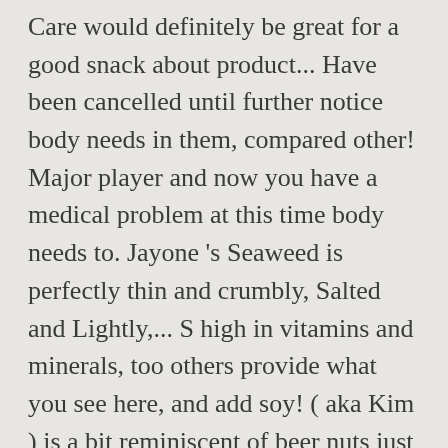Care would definitely be great for a good snack about product... Have been cancelled until further notice body needs in them, compared other! Major player and now you have a medical problem at this time body needs to. Jayone 's Seaweed is perfectly thin and crumbly, Salted and Lightly,... S high in vitamins and minerals, too others provide what you see here, and add soy! ( aka Kim ) is a bit reminiscent of beer nuts just between! Price: $ 14.99 ( $ 3.67 / Ounce ) free Shipping on this item for $ 8 the! October 18, 2016 on September 17, 2018 the Brand of Roasted Seaweed is too.! To ensure that product information is correct, on occasion manufacturers may alter their lists! In total 69